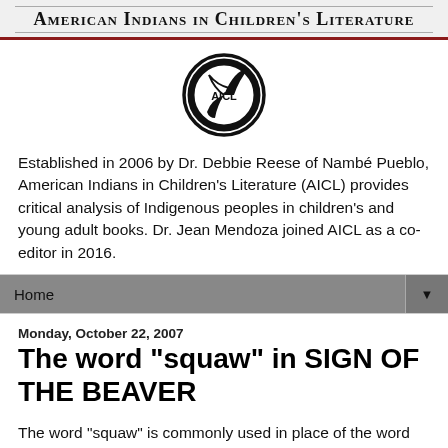American Indians in Children's Literature
[Figure (logo): AICL circular logo with feather/hand design]
Established in 2006 by Dr. Debbie Reese of Nambé Pueblo, American Indians in Children's Literature (AICL) provides critical analysis of Indigenous peoples in children's and young adult books. Dr. Jean Mendoza joined AICL as a co-editor in 2016.
Home ▼
Monday, October 22, 2007
The word "squaw" in SIGN OF THE BEAVER
The word "squaw" is commonly used in place of the word "woman" in historical fiction for children. I wonder if its